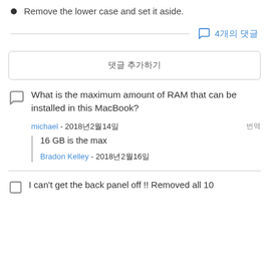Remove the lower case and set it aside.
4개의 댓글
댓글 추가하기
What is the maximum amount of RAM that can be installed in this MacBook?
michael - 2018년2월14일
16 GB is the max
Bradon Kelley - 2018년2월16일
I can't get the back panel off !! Removed all 10